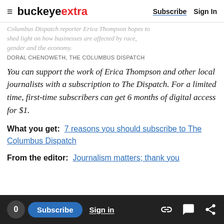buckeyextra — Subscribe | Sign In
Columbus Dispatch reporter Erica Thompson hopes to shed light on how businesses are affected by race, gender and the economy.
DORAL CHENOWETH, THE COLUMBUS DISPATCH
You can support the work of Erica Thompson and other local journalists with a subscription to The Dispatch. For a limited time, first-time subscribers can get 6 months of digital access for $1.
What you get:  7 reasons you should subscribe to The Columbus Dispatch
From the editor:  Journalism matters; thank you
0  Subscribe  Sign in